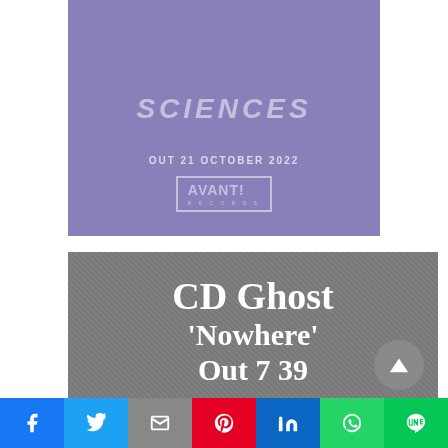[Figure (illustration): Purple background promotional image with 'SCIENCES' text in large italic caps, 'OUT 21 OCTOBER 2022' below, and AVANT! Records logo in a box]
[Figure (illustration): Dark grainy background promotional image with white serif text reading 'CD Ghost', below that "'Nowhere'", and below that 'Out 7 39' (partially cut off)]
Social share bar with Facebook, Twitter, Gmail, Pinterest, LinkedIn, WhatsApp, LINE buttons